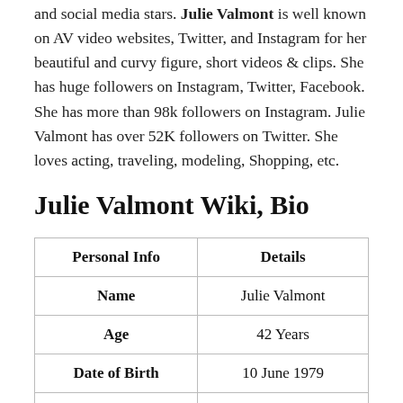and social media stars. Julie Valmont is well known on AV video websites, Twitter, and Instagram for her beautiful and curvy figure, short videos & clips. She has huge followers on Instagram, Twitter, Facebook. She has more than 98k followers on Instagram. Julie Valmont has over 52K followers on Twitter. She loves acting, traveling, modeling, Shopping, etc.
Julie Valmont Wiki, Bio
| Personal Info | Details |
| --- | --- |
| Name | Julie Valmont |
| Age | 42 Years |
| Date of Birth | 10 June 1979 |
| Profession | Actress, Model |